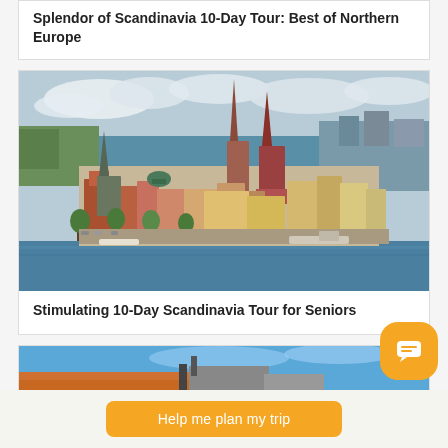Splendor of Scandinavia 10-Day Tour: Best of Northern Europe
[Figure (photo): Aerial view of Stockholm old town (Gamla Stan) waterfront with church spires, colorful historic buildings, and surrounding waterways]
Stimulating 10-Day Scandinavia Tour for Seniors
[Figure (photo): Partial view of a Scandinavian city waterfront with orange/red rooftops and blue sky, partially cropped at bottom of page]
Help me plan my trip